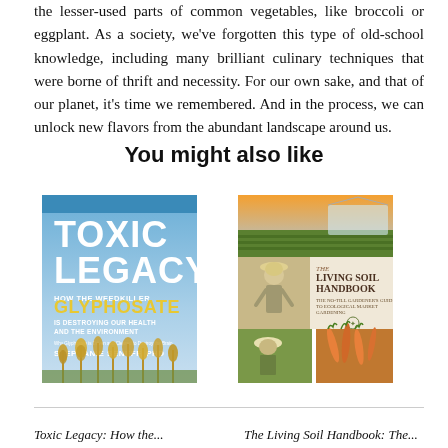the lesser-used parts of common vegetables, like broccoli or eggplant. As a society, we've forgotten this type of old-school knowledge, including many brilliant culinary techniques that were borne of thrift and necessity. For our own sake, and that of our planet, it's time we remembered. And in the process, we can unlock new flavors from the abundant landscape around us.
You might also like
[Figure (photo): Book cover of 'Toxic Legacy: How the Weedkiller Glyphosate Is Destroying Our Health and the Environment' by Stephanie Seneff, PhD. Blue cover with large white text and yellow accent text, featuring wheat stalks at the bottom.]
[Figure (photo): Book cover of 'The Living Soil Handbook: The No-Till Grower's Guide to Ecological Market Gardening' by Jesse Frost. Cover shows multiple photos of farm fields, a farmer, and harvested vegetables.]
Toxic Legacy: How the...
The Living Soil Handbook: The...